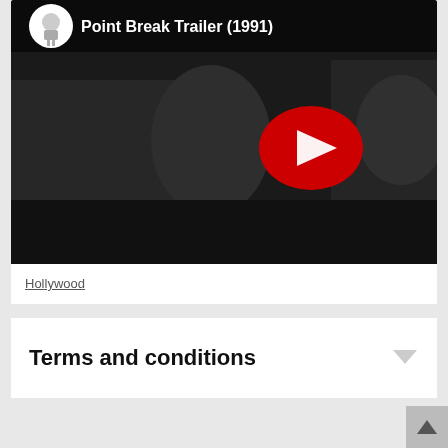[Figure (screenshot): YouTube video thumbnail showing Point Break Trailer (1991) with YouTube play button overlay and dark scene with people]
Hollywood
Terms and conditions